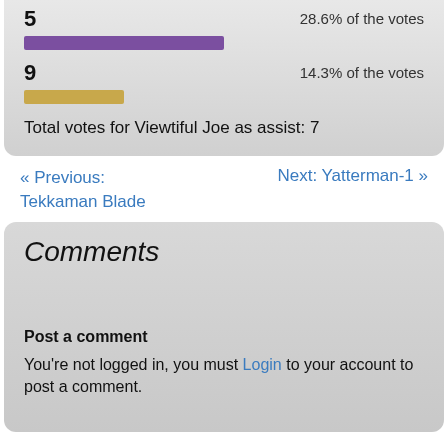[Figure (bar-chart): Votes]
Total votes for Viewtiful Joe as assist: 7
« Previous: Tekkaman Blade
Next: Yatterman-1 »
Comments
Post a comment
You're not logged in, you must Login to your account to post a comment.